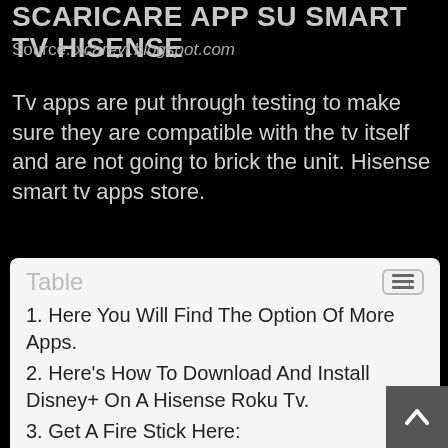SCARICAREAPP SU SMART TV HISENSE
Source: xcareyl.blogspot.com
Tv apps are put through testing to make sure they are compatible with the tv itself and are not going to brick the unit. Hisense smart tv apps store.
1. Here You Will Find The Option Of More Apps.
2. Here's How To Download And Install Disney+ On A Hisense Roku Tv.
3. Get A Fire Stick Here:
4. If You Have Any Trouble Downloading Apps You Can Do It Easily Using A Streaming Sti